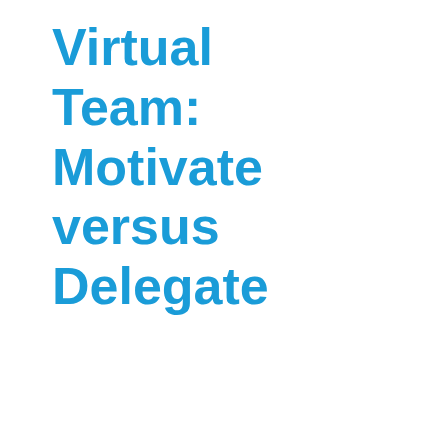Virtual Team: Motivate versus Delegate